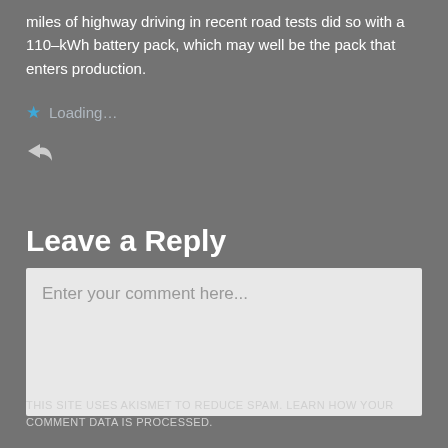miles of highway driving in recent road tests did so with a 110–kWh battery pack, which may well be the pack that enters production.
Loading…
[Figure (other): Reply arrow icon]
Leave a Reply
Enter your comment here...
THIS SITE USES AKISMET TO REDUCE SPAM. LEARN HOW YOUR COMMENT DATA IS PROCESSED.